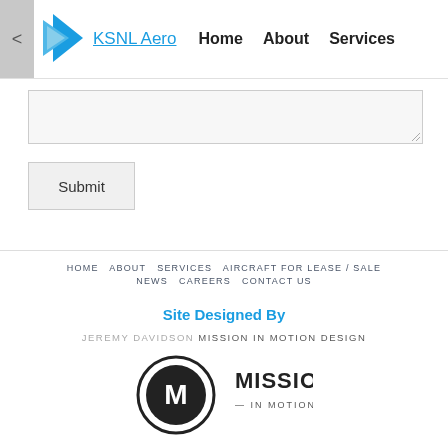KSNL Aero  Home  About  Services
[Figure (screenshot): Text area input box (form element)]
Submit
HOME  ABOUT  SERVICES  AIRCRAFT FOR LEASE / SALE  NEWS  CAREERS  CONTACT US
Site Designed By
JEREMY DAVIDSON  MISSION IN MOTION DESIGN
[Figure (logo): Mission In Motion logo — circular badge with stylized M and text MISSION IN MOTION]